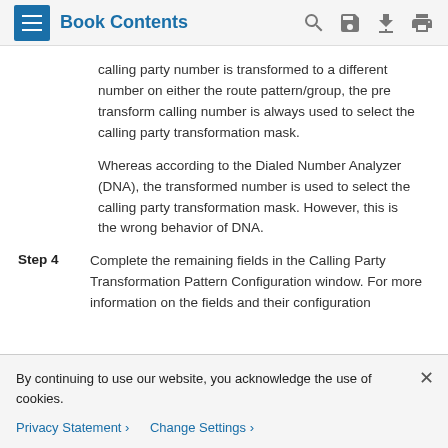Book Contents
calling party number is transformed to a different number on either the route pattern/group, the pre transform calling number is always used to select the calling party transformation mask.
Whereas according to the Dialed Number Analyzer (DNA), the transformed number is used to select the calling party transformation mask. However, this is the wrong behavior of DNA.
Step 4   Complete the remaining fields in the Calling Party Transformation Pattern Configuration window. For more information on the fields and their configuration
By continuing to use our website, you acknowledge the use of cookies.
Privacy Statement > Change Settings >